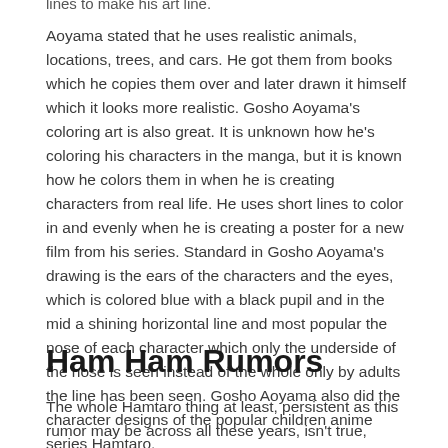lines to make his art line. Aoyama stated that he uses realistic animals, locations, trees, and cars. He got them from books which he copies them over and later drawn it himself which it looks more realistic. Gosho Aoyama's coloring art is also great. It is unknown how he's coloring his characters in the manga, but it is known how he colors them in when he is creating characters from real life. He uses short lines to color in and evenly when he is creating a poster for a new film from his series. Standard in Gosho Aoyama's drawing is the ears of the characters and the eyes, which is colored blue with a black pupil and in the mid a shining horizontal line and most popular the nose of each character which only the underside of the nose is seen instead of the whole only by adults the line has been seen. Gosho Aoyama also did the character designs of the popular children anime series Hamtaro.
Ham Ham Rumors
The whole Hamtaro thing at least, persistent as this rumor may be across all these years, isn't true, though. Or at